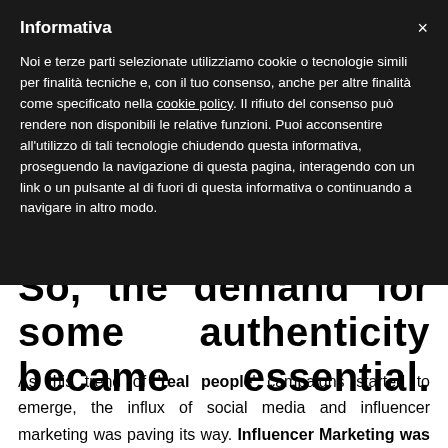Informativa
Noi e terze parti selezionate utilizziamo cookie o tecnologie simili per finalità tecniche e, con il tuo consenso, anche per altre finalità come specificato nella cookie policy. Il rifiuto del consenso può rendere non disponibili le relative funzioni. Puoi acconsentire all'utilizzo di tali tecnologie chiudendo questa informativa, proseguendo la navigazione di questa pagina, interagendo con un link o un pulsante al di fuori di questa informativa o continuando a navigare in altro modo.
So, the demand for some authenticity became essential.
As this trend of 'real people' campaigns started to emerge, the influx of social media and influencer marketing was paving its way. Influencer Marketing was exactly what brands needed to adhere to the demands of consumers.